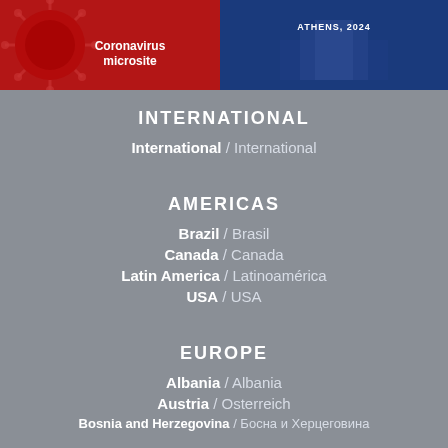[Figure (photo): Left panel: red background with coronavirus imagery and text 'Coronavirus microsite']
[Figure (photo): Right panel: blue background with building/summit imagery and text partially visible 'ATHENS, 2024']
INTERNATIONAL
International / International
AMERICAS
Brazil / Brasil
Canada / Canada
Latin America / Latinoamérica
USA / USA
EUROPE
Albania / Albania
Austria / Osterreich
Bosnia and Herzegovina / Босна и Херцеговина